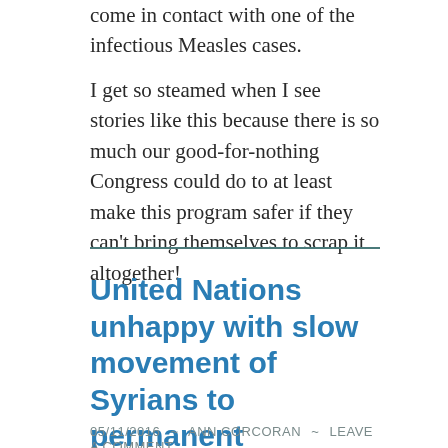come in contact with one of the infectious Measles cases.
I get so steamed when I see stories like this because there is so much our good-for-nothing Congress could do to at least make this program safer if they can't bring themselves to scrap it altogether!
United Nations unhappy with slow movement of Syrians to permanent resettlement
05/11/2016 ~ ANN CORCORAN ~ LEAVE A COMMENT